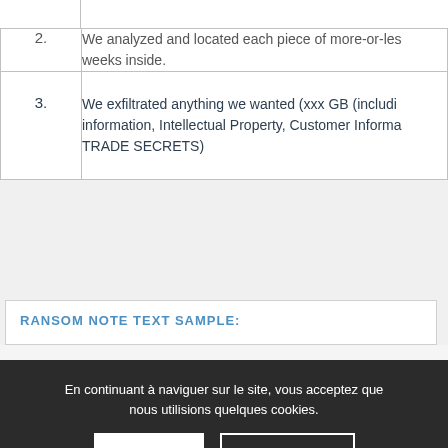| # | Description |
| --- | --- |
| 2. | We analyzed and located each piece of more-or-less... weeks inside. |
| 3. | We exfiltrated anything we wanted (xxx GB (includi information, Intellectual Property, Customer Informa TRADE SECRETS) |
RANSOM NOTE TEXT SAMPLE:
En continuant à naviguer sur le site, vous acceptez que nous utilisions quelques cookies.